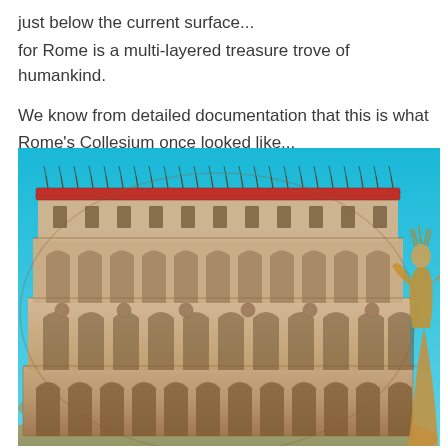just below the current surface...
for Rome is a multi-layered treasure trove of humankind.
We know from detailed documentation that this is what Rome's Collesium once looked like...
[Figure (illustration): A reconstructed artistic rendering of the Colosseum in Rome as it once appeared, showing the full exterior with multiple arched tiers, decorative statues in niches, a red awning (velarium) at the top, and a figure of a gladiator or statue on the right side, set against a bright blue sky.]